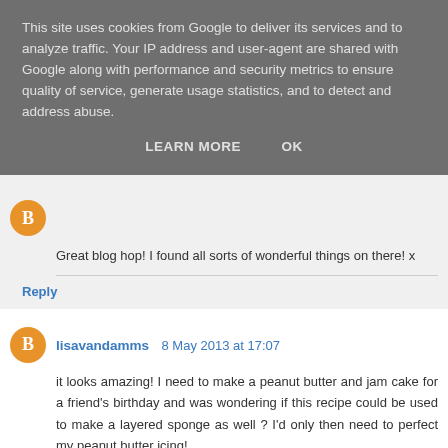This site uses cookies from Google to deliver its services and to analyze traffic. Your IP address and user-agent are shared with Google along with performance and security metrics to ensure quality of service, generate usage statistics, and to detect and address abuse.
LEARN MORE   OK
Great blog hop! I found all sorts of wonderful things on there! x
Reply
lisavandamms 8 May 2013 at 17:07
it looks amazing! I need to make a peanut butter and jam cake for a friend's birthday and was wondering if this recipe could be used to make a layered sponge as well ? I'd only then need to perfect my peanut butter icing!
thanks